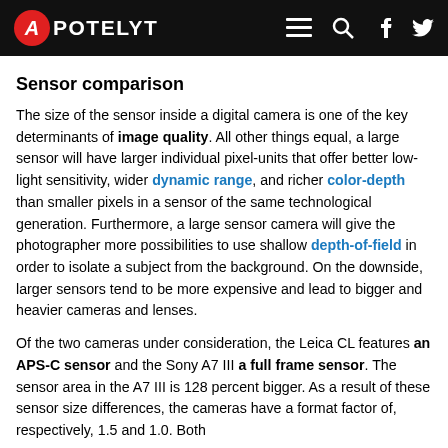APOTELYT
Sensor comparison
The size of the sensor inside a digital camera is one of the key determinants of image quality. All other things equal, a large sensor will have larger individual pixel-units that offer better low-light sensitivity, wider dynamic range, and richer color-depth than smaller pixels in a sensor of the same technological generation. Furthermore, a large sensor camera will give the photographer more possibilities to use shallow depth-of-field in order to isolate a subject from the background. On the downside, larger sensors tend to be more expensive and lead to bigger and heavier cameras and lenses.
Of the two cameras under consideration, the Leica CL features an APS-C sensor and the Sony A7 III a full frame sensor. The sensor area in the A7 III is 128 percent bigger. As a result of these sensor size differences, the cameras have a format factor of, respectively, 1.5 and 1.0. Both